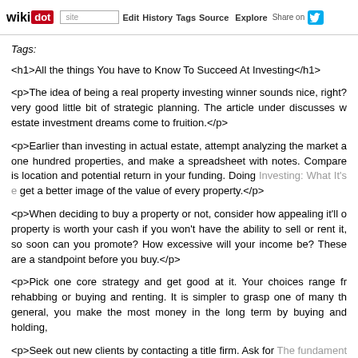wikidot | site Edit History Tags Source Explore Share on Twitter
Tags:
<h1>All the things You have to Know To Succeed At Investing</h1>
<p>The idea of being a real property investing winner sounds nice, right? very good little bit of strategic planning. The article under discusses w estate investment dreams come to fruition.</p>
<p>Earlier than investing in actual estate, attempt analyzing the market a one hundred properties, and make a spreadsheet with notes. Compare is location and potential return in your funding. Doing Investing: What It's e get a better image of the value of every property.</p>
<p>When deciding to buy a property or not, consider how appealing it'll o property is worth your cash if you won't have the ability to sell or rent it, s soon can you promote? How excessive will your income be? These are a standpoint before you buy.</p>
<p>Pick one core strategy and get good at it. Your choices range fr rehabbing or buying and renting. It is simpler to grasp one of many th general, you make the most money in the long term by buying and holdin</p>
<p>Seek out new clients by contacting a title firm. Ask for The fundament consumers in your space who've purchased properties much like the k them to know of your interest in investing earlier than they've even com gives you an edge.</p>
<p>Insure your entire properties, even if they're at the moment vacant. W